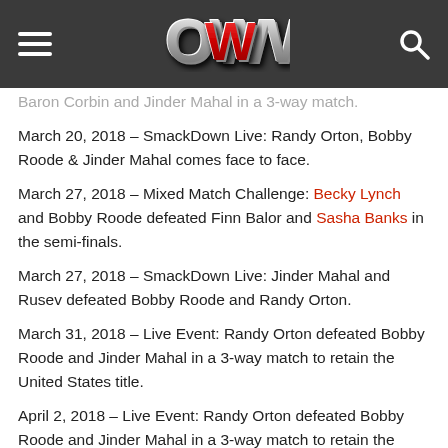OWW
Baron Corbin and Jinder Mahal in a 3-way match.
March 20, 2018 – SmackDown Live: Randy Orton, Bobby Roode & Jinder Mahal comes face to face.
March 27, 2018 – Mixed Match Challenge: Becky Lynch and Bobby Roode defeated Finn Balor and Sasha Banks in the semi-finals.
March 27, 2018 – SmackDown Live: Jinder Mahal and Rusev defeated Bobby Roode and Randy Orton.
March 31, 2018 – Live Event: Randy Orton defeated Bobby Roode and Jinder Mahal in a 3-way match to retain the United States title.
April 2, 2018 – Live Event: Randy Orton defeated Bobby Roode and Jinder Mahal in a 3-way match to retain the United States title.
April 3, 2018 – Mixed Match Challenge: Asuka and The